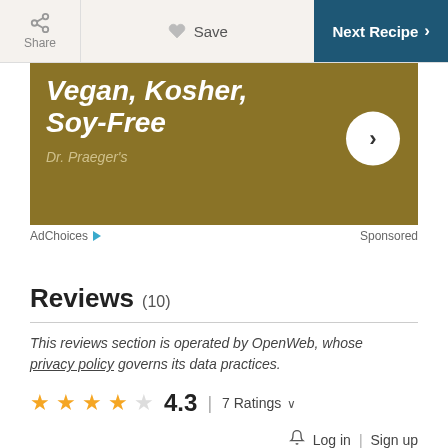[Figure (screenshot): Top navigation bar with Share, Save (heart icon), and Next Recipe buttons]
[Figure (photo): Ad banner for Dr. Praeger's Vegan, Kosher, Soy-Free product on olive/gold background with circular arrow button]
AdChoices ▷    Sponsored
Reviews (10)
This reviews section is operated by OpenWeb, whose privacy policy governs its data practices.
★★★★☆ 4.3  |  7 Ratings ∨
🔔  Log in | Sign up
Write a Review   GIF